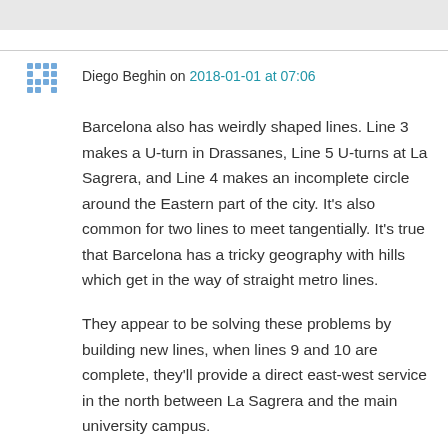Diego Beghin on 2018-01-01 at 07:06
Barcelona also has weirdly shaped lines. Line 3 makes a U-turn in Drassanes, Line 5 U-turns at La Sagrera, and Line 4 makes an incomplete circle around the Eastern part of the city. It’s also common for two lines to meet tangentially. It’s true that Barcelona has a tricky geography with hills which get in the way of straight metro lines.
They appear to be solving these problems by building new lines, when lines 9 and 10 are complete, they’ll provide a direct east-west service in the north between La Sagrera and the main university campus.